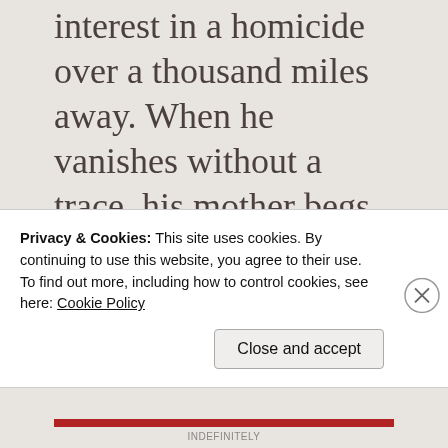interest in a homicide over a thousand miles away. When he vanishes without a trace, his mother begs Zoe to help clear him and bring him safely home. The task takes Zoe out of her comfort zone in a frantic trip to the desolate
Privacy & Cookies: This site uses cookies. By continuing to use this website, you agree to their use.
To find out more, including how to control cookies, see here: Cookie Policy
Close and accept